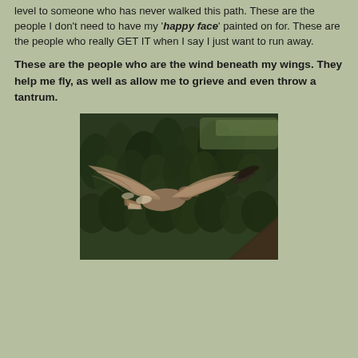level to someone who has never walked this path. These are the people I don't need to have my 'happy face' painted on for. These are the people who really GET IT when I say I just want to run away.
These are the people who are the wind beneath my wings. They help me fly, as well as allow me to grieve and even throw a tantrum.
[Figure (photo): A bird of prey (hawk or eagle) in flight over a dense dark green forest, viewed from above. The bird has spread wings with light and dark feathers, flying against an aerial landscape backdrop with trees and a building rooftop visible below.]